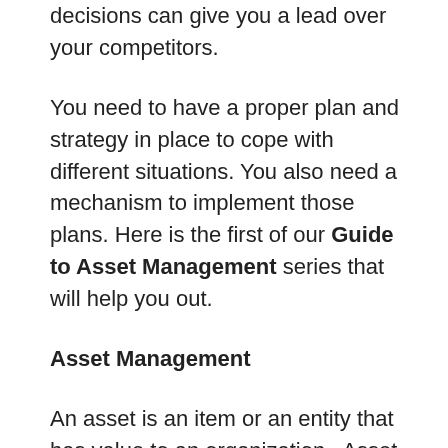decisions can give you a lead over your competitors.
You need to have a proper plan and strategy in place to cope with different situations. You also need a mechanism to implement those plans. Here is the first of our Guide to Asset Management series that will help you out.
Asset Management
An asset is an item or an entity that has value to an organization.  Asset management is the science of making the right decision. A system controls the asset in the best way possible. All the processes such as operating, maintaining, upgrading and